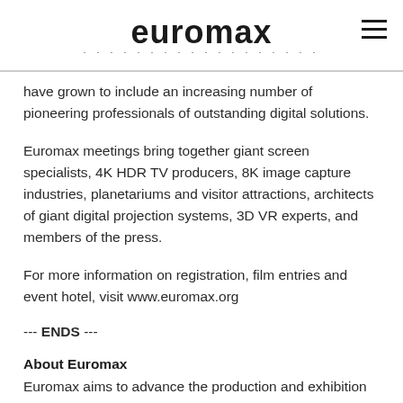euromax
have grown to include an increasing number of pioneering professionals of outstanding digital solutions.
Euromax meetings bring together giant screen specialists, 4K HDR TV producers, 8K image capture industries, planetariums and visitor attractions, architects of giant digital projection systems, 3D VR experts, and members of the press.
For more information on registration, film entries and event hotel, visit www.euromax.org
--- ENDS ---
About Euromax
Euromax aims to advance the production and exhibition of films made in 2D or 3D/Stereoscopic for educational giant screen cinema theatres/exhibitors and immersive cinema